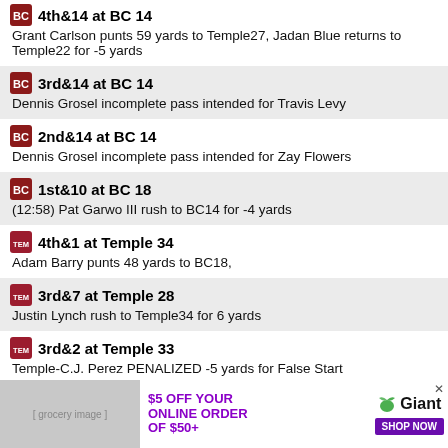4th&14 at BC 14
Grant Carlson punts 59 yards to Temple27, Jadan Blue returns to Temple22 for -5 yards
3rd&14 at BC 14
Dennis Grosel incomplete pass intended for Travis Levy
2nd&14 at BC 14
Dennis Grosel incomplete pass intended for Zay Flowers
1st&10 at BC 18
(12:58) Pat Garwo III rush to BC14 for -4 yards
4th&1 at Temple 34
Adam Barry punts 48 yards to BC18,
3rd&7 at Temple 28
Justin Lynch rush to Temple34 for 6 yards
3rd&2 at Temple 33
Temple-C.J. Perez PENALIZED -5 yards for False Start
[Figure (infographic): Giant grocery store ad: $5 OFF YOUR ONLINE ORDER OF $50+ with SHOP NOW button and Giant logo with leaf icon]